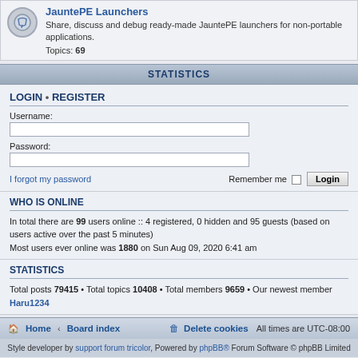JauntePE Launchers — Share, discuss and debug ready-made JauntePE launchers for non-portable applications. Topics: 69
STATISTICS
LOGIN • REGISTER
Username:
Password:
I forgot my password   Remember me  Login
WHO IS ONLINE
In total there are 99 users online :: 4 registered, 0 hidden and 95 guests (based on users active over the past 5 minutes)
Most users ever online was 1880 on Sun Aug 09, 2020 6:41 am
STATISTICS
Total posts 79415 • Total topics 10408 • Total members 9659 • Our newest member Haru1234
Home · Board index   Delete cookies   All times are UTC-08:00
Style developer by support forum tricolor, Powered by phpBB® Forum Software © phpBB Limited